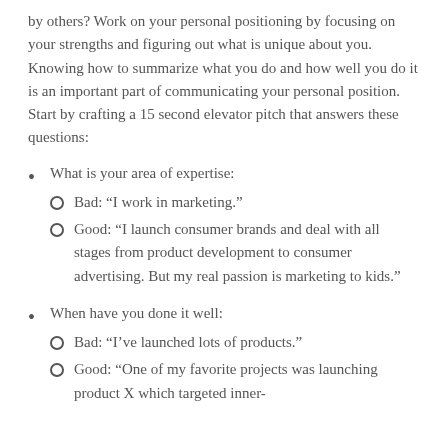by others? Work on your personal positioning by focusing on your strengths and figuring out what is unique about you. Knowing how to summarize what you do and how well you do it is an important part of communicating your personal position. Start by crafting a 15 second elevator pitch that answers these questions:
What is your area of expertise:
Bad: “I work in marketing.”
Good: “I launch consumer brands and deal with all stages from product development to consumer advertising. But my real passion is marketing to kids.”
When have you done it well:
Bad: “I’ve launched lots of products.”
Good: “One of my favorite projects was launching product X which targeted inner-